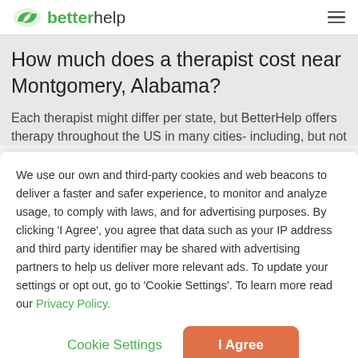betterhelp
How much does a therapist cost near Montgomery, Alabama?
Each therapist might differ per state, but BetterHelp offers therapy throughout the US in many cities- including, but not
We use our own and third-party cookies and web beacons to deliver a faster and safer experience, to monitor and analyze usage, to comply with laws, and for advertising purposes. By clicking 'I Agree', you agree that data such as your IP address and third party identifier may be shared with advertising partners to help us deliver more relevant ads. To update your settings or opt out, go to 'Cookie Settings'. To learn more read our Privacy Policy.
Cookie Settings | I Agree